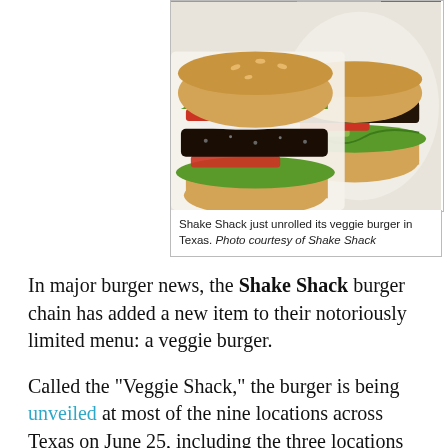[Figure (photo): Two Shake Shack veggie burgers (Veggie Shack) wrapped in white paper, showing dark patties with lettuce, tomato, onion, and pickles on golden buns, photographed from above on a light background.]
Shake Shack just unrolled its veggie burger in Texas. Photo courtesy of Shake Shack
In major burger news, the Shake Shack burger chain has added a new item to their notoriously limited menu: a veggie burger.
Called the "Veggie Shack," the burger is being unveiled at most of the nine locations across Texas on June 25, including the three locations in Dallas at Uptown, Preston-